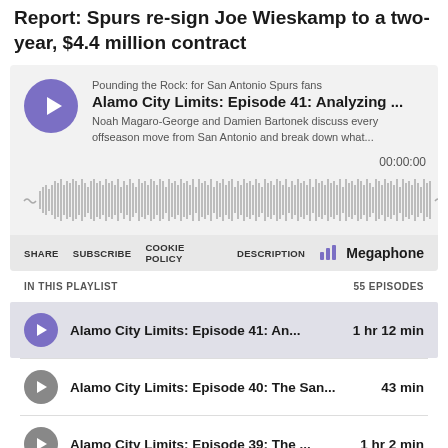Report: Spurs re-sign Joe Wieskamp to a two-year, $4.4 million contract
[Figure (screenshot): Podcast player widget for 'Alamo City Limits: Episode 41: Analyzing...' from Pounding the Rock: for San Antonio Spurs fans. Shows play button, episode info, waveform, time 00:00:00, toolbar with SHARE, SUBSCRIBE, COOKIE POLICY, DESCRIPTION, and Megaphone branding. Below is a playlist showing 55 episodes including Episode 41 (1 hr 12 min), Episode 40 (43 min), and Episode 39 (1 hr 2 min).]